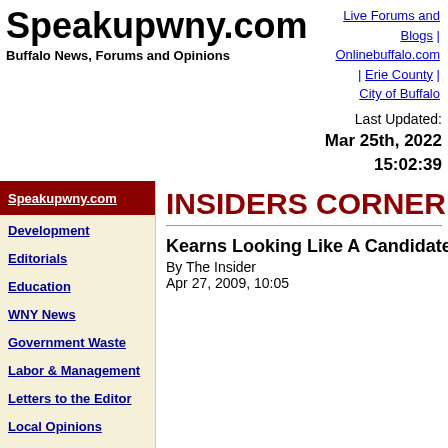Speakupwny.com
Buffalo News, Forums and Opinions
Live Forums and Blogs | Onlinebuffalo.com | Erie County | City of Buffalo
Last Updated: Mar 25th, 2022 15:02:39
Speakupwny.com
Development
Editorials
Education
WNY News
Government Waste
Labor & Management
Letters to the Editor
Local Opinions
Local WNY Websites
New Government
INSIDERS CORNER
Kearns Looking Like A Candidate
By The Insider
Apr 27, 2009, 10:05